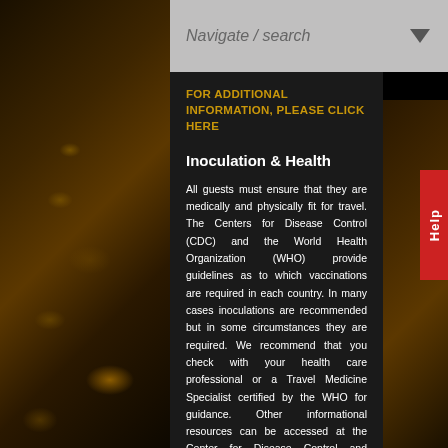Navigate / search
FOR ADDITIONAL INFORMATION, PLEASE CLICK HERE
Inoculation & Health
All guests must ensure that they are medically and physically fit for travel. The Centers for Disease Control (CDC) and the World Health Organization (WHO) provide guidelines as to which vaccinations are required in each country. In many cases inoculations are recommended but in some circumstances they are required. We recommend that you check with your health care professional or a Travel Medicine Specialist certified by the WHO for guidance. Other informational resources can be accessed at the Center for Disease Control and Prevention's Traveler's Health website or